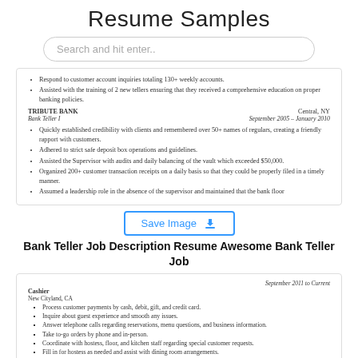Resume Samples
Search and hit enter..
[Figure (screenshot): Resume excerpt showing TRIBUTE BANK, Bank Teller I position, Central NY, September 2005 - January 2010, with bullet points about job duties]
Save Image
Bank Teller Job Description Resume Awesome Bank Teller Job
[Figure (screenshot): Resume excerpt showing Cashier position at New Cityland CA, September 2011 to Current, Mike's Gourmet Sub Shop, and second Cashier position February 2010 to August 2011]